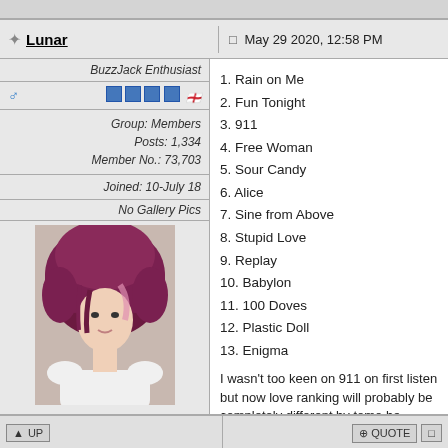Lunar — May 29 2020, 12:58 PM
BuzzJack Enthusiast
Group: Members
Posts: 1,334
Member No.: 73,703
Joined: 10-July 18
No Gallery Pics
1. Rain on Me
2. Fun Tonight
3. 911
4. Free Woman
5. Sour Candy
6. Alice
7. Sine from Above
8. Stupid Love
9. Replay
10. Babylon
11. 100 Doves
12. Plastic Doll
13. Enigma
I wasn't too keen on 911 on first listen but now love ranking will probably be completely different by tomo be honest 😁